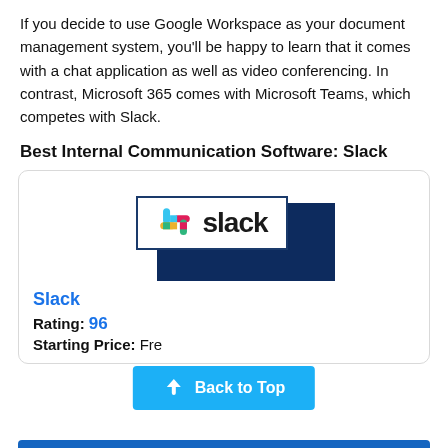If you decide to use Google Workspace as your document management system, you'll be happy to learn that it comes with a chat application as well as video conferencing. In contrast, Microsoft 365 comes with Microsoft Teams, which competes with Slack.
Best Internal Communication Software: Slack
[Figure (logo): Slack logo — colorful pinwheel icon beside bold lowercase 'slack' text, inside a bordered box with a dark navy blue shadow/block behind it]
Slack
Rating: 96
Starting Price: Free